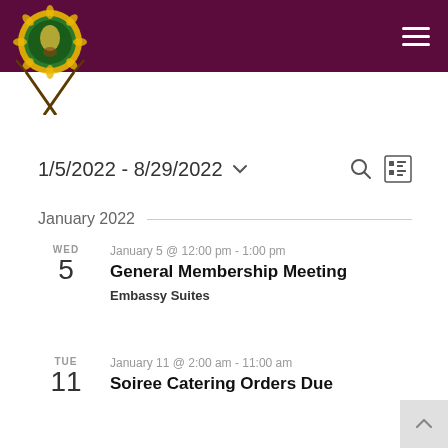[Figure (logo): Circular organizational logo with decorative gold and green design, with crossed arrows/staffs below]
Navigation header bar with hamburger menu icon, dark maroon/purple background
1/5/2022 - 8/29/2022
January 2022
WED
5
January 5 @ 12:00 pm - 1:00 pm
General Membership Meeting
Embassy Suites
TUE
11
January 11 @ 2:00 am - 11:00 am
Soiree Catering Orders Due